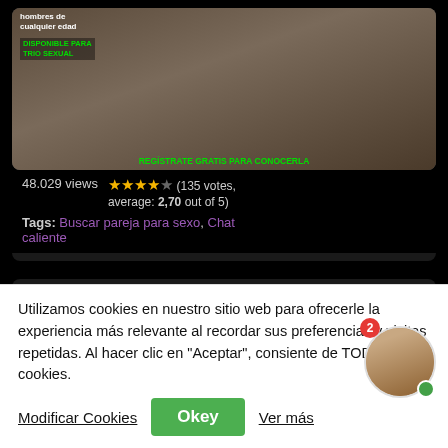[Figure (screenshot): Adult content promotional image with overlay text in Spanish]
48.029 views  ★★★☆☆ (135 votes, average: 2,70 out of 5)
Tags: Buscar pareja para sexo, Chat caliente
Términos y Condiciones
Utilizamos cookies en nuestro sitio web para ofrecerle la experiencia más relevante al recordar sus preferencias y visitas repetidas. Al hacer clic en "Aceptar", consiente de TODAS las cookies.
Modificar Cookies   Okey   Ver más